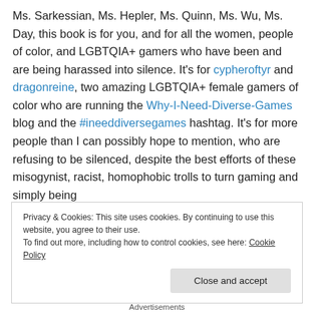Ms. Sarkessian, Ms. Hepler, Ms. Quinn, Ms. Wu, Ms. Day, this book is for you, and for all the women, people of color, and LGBTQIA+ gamers who have been and are being harassed into silence. It's for cypheroftyr and dragonreine, two amazing LGBTQIA+ female gamers of color who are running the Why-I-Need-Diverse-Games blog and the #ineeddiversegames hashtag. It's for more people than I can possibly hope to mention, who are refusing to be silenced, despite the best efforts of these misogynist, racist, homophobic trolls to turn gaming and simply being
Privacy & Cookies: This site uses cookies. By continuing to use this website, you agree to their use. To find out more, including how to control cookies, see here: Cookie Policy
Close and accept
Advertisements